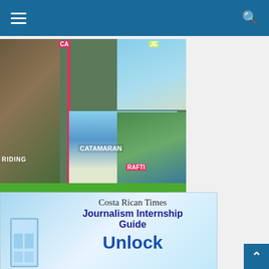Navigation header with menu and search
[Figure (photo): Quepoa Tours advertisement showing horse riding, catamaran, jet ski, and rafting activities with contact information for Marvin 'Lewis' Ocon]
Marvin " Lewis" Ocon | Facebook/quepoatours
mobile : (+506)85824675 27777568 after 3 pm
Email : ocon.marvin67@gmail.com
[Figure (photo): Costa Rican Times Journalism Internship Guide advertisement showing 'Unlock' text with a door graphic]